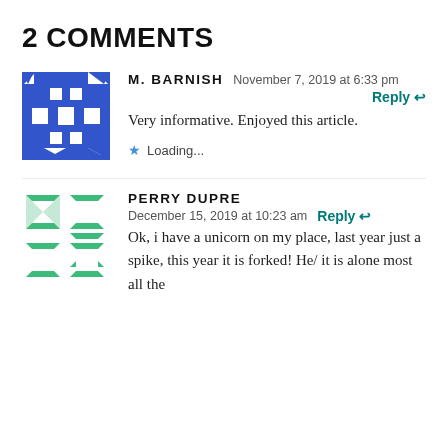2 COMMENTS
M. BARNISH   November 7, 2019 at 6:33 pm
Reply
Very informative. Enjoyed this article.
Loading...
PERRY DUPRE
December 15, 2019 at 10:23 am   Reply
Ok, i have a unicorn on my place, last year just a spike, this year it is forked! He/ it is alone most all the